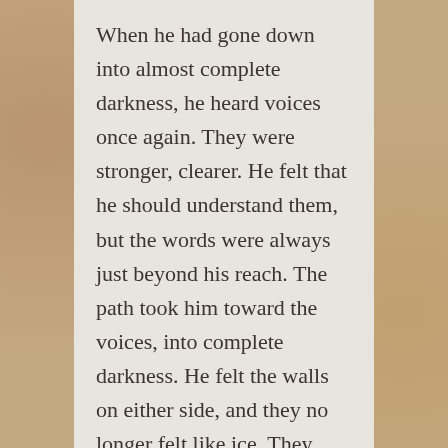When he had gone down into almost complete darkness, he heard voices once again. They were stronger, clearer. He felt that he should understand them, but the words were always just beyond his reach. The path took him toward the voices, into complete darkness. He felt the walls on either side, and they no longer felt like ice. They were warm stone.
As he continued, his eyes adjusted. Faint purple light came from the stone itself. It was just barely enough to see the twists and turns by variations in